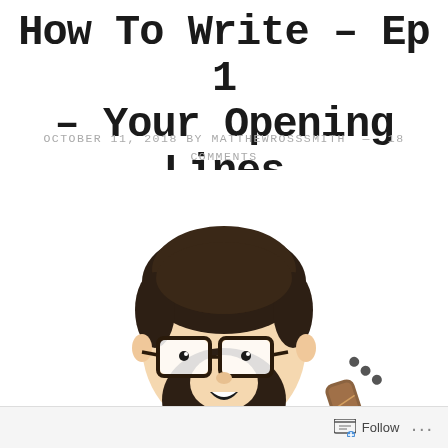How To Write – Ep 1 – Your Opening Lines
OCTOBER 11, 2018 BY MATTHEWROSSSMITH — 18 COMMENTS
[Figure (illustration): Cartoon illustration of a bearded man with glasses wearing a dark suit with a pink/magenta tie, smiling. A guitar neck is partially visible at the bottom right. The bottom of the image is cut off showing dark hair.]
Follow ...